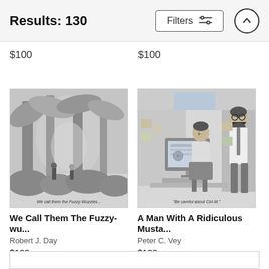Results: 130
$100   $100
[Figure (illustration): New Yorker style cartoon of figures in a jungle/forest scene with large tropical plants and tall trees. Caption reads: 'We call them the Fuzzy-Wuzzies']
We Call Them The Fuzzy-wu...
Robert J. Day
$100
[Figure (illustration): New Yorker style cartoon of an office cubicle scene. A man sitting at a computer and another man with a large mustache standing nearby. Caption reads: 'Be careful about Ctrl-M.']
A Man With A Ridiculous Musta...
Peter C. Vey
$100